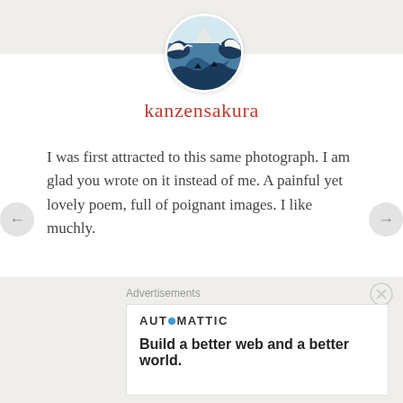[Figure (photo): Circular avatar image showing a famous Japanese wave painting (The Great Wave off Kanagawa by Hokusai)]
kanzensakura
I was first attracted to this same photograph. I am glad you wrote on it instead of me. A painful yet lovely poem, full of poignant images. I like muchly.
★ Like
↪ REPLY
JANUARY 21, 2015 AT 20:49
Advertisements
[Figure (logo): Automattic logo with blue dot replacing the O]
Build a better web and a better world.